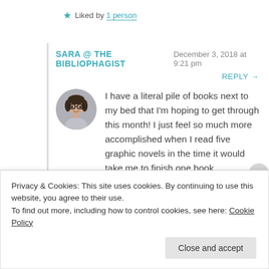★ Liked by 1 person
SARA @ THE BIBLIOPHAGIST   December 3, 2018 at 9:21 pm
REPLY →
[Figure (photo): Circular avatar photo of a young woman with dark hair and glasses, smiling]
I have a literal pile of books next to my bed that I'm hoping to get through this month! I just feel so much more accomplished when I read five graphic novels in the time it would take me to finish one book.
★ Liked by 1 person
Privacy & Cookies: This site uses cookies. By continuing to use this website, you agree to their use.
To find out more, including how to control cookies, see here: Cookie Policy
Close and accept